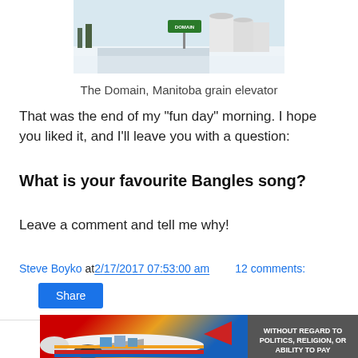[Figure (photo): Snowy winter scene showing the Domain, Manitoba grain elevator with a green road sign and large white grain silos in the background]
The Domain, Manitoba grain elevator
That was the end of my "fun day" morning. I hope you liked it, and I'll leave you with a question:
What is your favourite Bangles song?
Leave a comment and tell me why!
Steve Boyko at 2/17/2017 07:53:00 am   12 comments:
Share
[Figure (photo): Advertisement banner showing an airplane being loaded with cargo, with text 'WITHOUT REGARD TO POLITICS, RELIGION, OR ABILITY TO PAY']